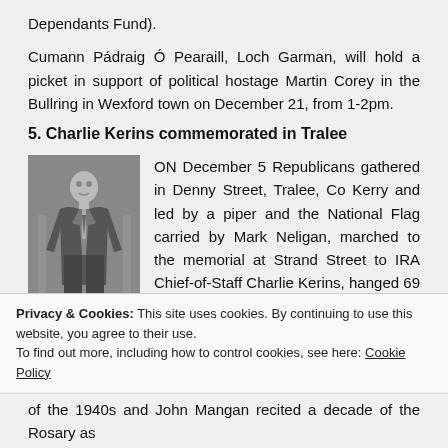Dependants Fund).
Cumann Pádraig Ó Pearaill, Loch Garman, will hold a picket in support of political hostage Martin Corey in the Bullring in Wexford town on December 21, from 1-2pm.
5. Charlie Kerins commemorated in Tralee
[Figure (photo): Black and white photograph of a man in a suit standing outdoors]
ON December 5 Republicans gathered in Denny Street, Tralee, Co Kerry and led by a piper and the National Flag carried by Mark Neligan, marched to the memorial at Strand Street to IRA Chief-of-Staff Charlie Kerins, hanged 69 years ago by the official English hangman Albert Pierpoint, brought over for the purpose
Privacy & Cookies: This site uses cookies. By continuing to use this website, you agree to their use.
To find out more, including how to control cookies, see here: Cookie Policy
of the 1940s and John Mangan recited a decade of the Rosary as